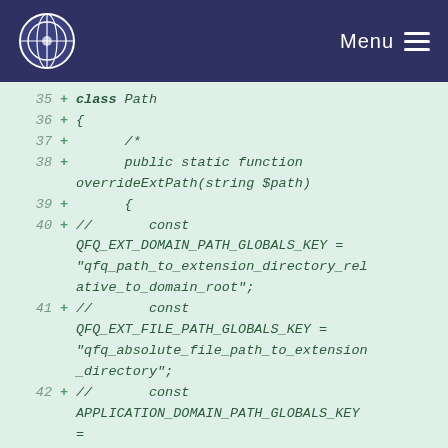Menu
[Figure (screenshot): Code diff view showing PHP class Path with added lines 35-43, including class declaration, opening brace, comment, public static function overrideExtPath(string $path), opening brace, and const declarations for QFQ_EXT_DOMAIN_PATH_GLOBALS_KEY, QFQ_EXT_FILE_PATH_GLOBALS_KEY, APPLICATION_DOMAIN_PATH_GLOBALS_KEY]